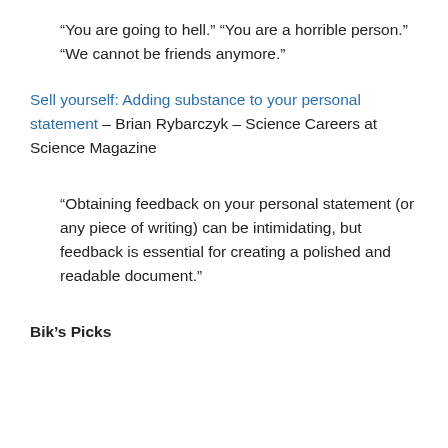“You are going to hell.” “You are a horrible person.” “We cannot be friends anymore.”
Sell yourself: Adding substance to your personal statement – Brian Rybarczyk – Science Careers at Science Magazine
“Obtaining feedback on your personal statement (or any piece of writing) can be intimidating, but feedback is essential for creating a polished and readable document.”
Bik’s Picks